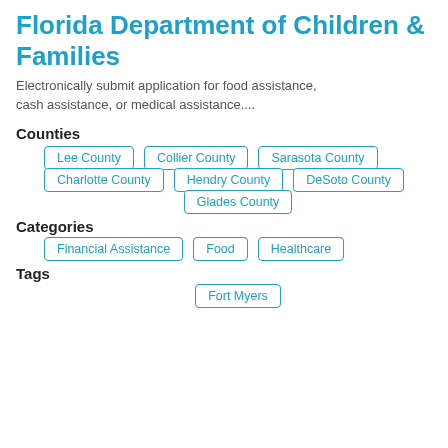Florida Department of Children & Families
Electronically submit application for food assistance, cash assistance, or medical assistance....
Counties
Lee County
Collier County
Sarasota County
Charlotte County
Hendry County
DeSoto County
Glades County
Categories
Financial Assistance
Food
Healthcare
Tags
Fort Myers